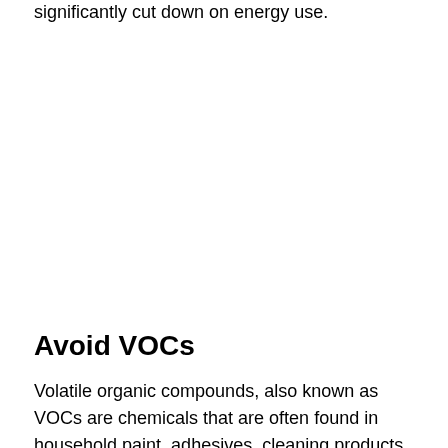significantly cut down on energy use.
Avoid VOCs
Volatile organic compounds, also known as VOCs are chemicals that are often found in household paint, adhesives, cleaning products and even your air fresheners, carpets and the furniture emitting... They are effective for their